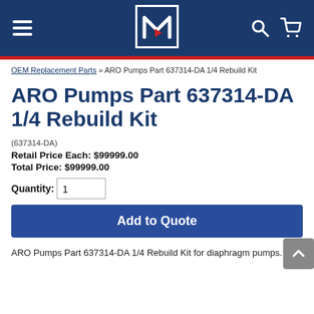Header with hamburger menu, logo, search and cart icons
OEM Replacement Parts » ARO Pumps Part 637314-DA 1/4 Rebuild Kit
ARO Pumps Part 637314-DA 1/4 Rebuild Kit
(637314-DA)
Retail Price Each: $99999.00
Total Price: $99999.00
Quantity: 1
Add to Quote
ARO Pumps Part 637314-DA 1/4 Rebuild Kit for diaphragm pumps.